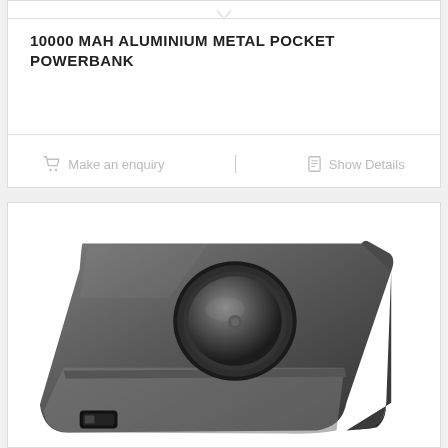10000 MAH ALUMINIUM METAL POCKET POWERBANK
Make an enquiry
Show Details
[Figure (photo): Photo of a dark grey/black aluminium metal pocket powerbank with a circular wireless charging button on top and a USB port at the bottom, shown at an angle.]